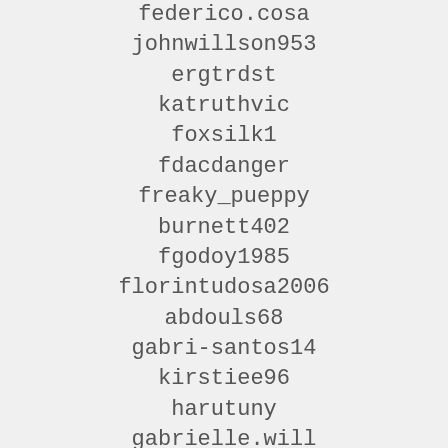federico.cosa
johnwillson953
ergtrdst
katruthvic
foxsilk1
fdacdanger
freaky_pueppy
burnett402
fgodoy1985
florintudosa2006
abdouls68
gabri-santos14
kirstiee96
harutuny
gabrielle.will
bakarik2009
cutemittu_1986
chiaveinglese
fejson
andrieho6u
ken.smart0
be_cool_namur
libragyrl13
babelle00102
girlinlove21